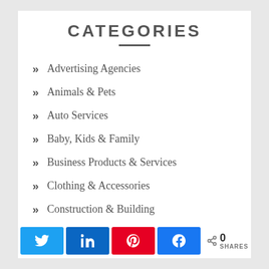CATEGORIES
Advertising Agencies
Animals & Pets
Auto Services
Baby, Kids & Family
Business Products & Services
Clothing & Accessories
Construction & Building